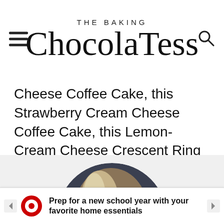THE BAKING ChocolaTess
Cheese Coffee Cake, this Strawberry Cream Cheese Coffee Cake, this Lemon-Cream Cheese Crescent Ring and [...]
[Figure (photo): Circular portrait photo of a woman with blonde highlighted hair against a dark background]
[Figure (infographic): Target advertisement banner: Prep for a new school year with your favorite home essentials]